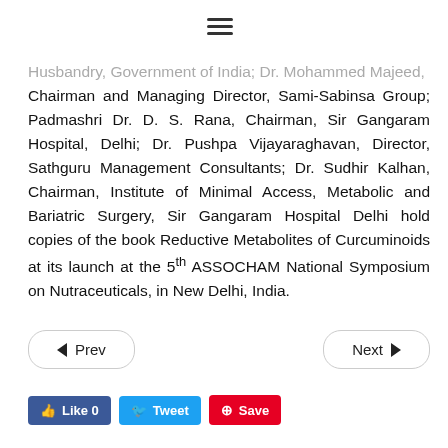≡
Husbandry, Government of India; Dr. Mohammed Majeed, Chairman and Managing Director, Sami-Sabinsa Group; Padmashri Dr. D. S. Rana, Chairman, Sir Gangaram Hospital, Delhi; Dr. Pushpa Vijayaraghavan, Director, Sathguru Management Consultants; Dr. Sudhir Kalhan, Chairman, Institute of Minimal Access, Metabolic and Bariatric Surgery, Sir Gangaram Hospital Delhi hold copies of the book Reductive Metabolites of Curcuminoids at its launch at the 5th ASSOCHAM National Symposium on Nutraceuticals, in New Delhi, India.
◀ Prev    Next ▶
Like 0   Tweet   Save